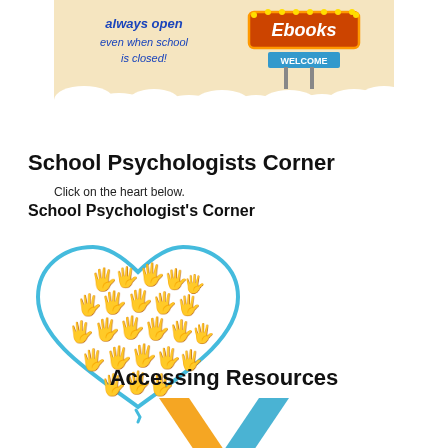[Figure (illustration): Banner advertisement for Ebooks with text 'always open even when school is closed!' and an Ebooks sign with WELCOME below it, set against a warm background with cloud shapes at the bottom.]
School Psychologists Corner
Click on the heart below.
School Psychologist's Corner
[Figure (illustration): A heart shape outlined in light blue, filled with colorful hand silhouettes in multiple colors including purple, blue, green, orange, red, yellow, pink, and teal, arranged in a collage style.]
Accessing Resources
[Figure (illustration): Bottom portion of a checkmark or V-shape logo in orange and blue colors, partially visible at the bottom of the page.]